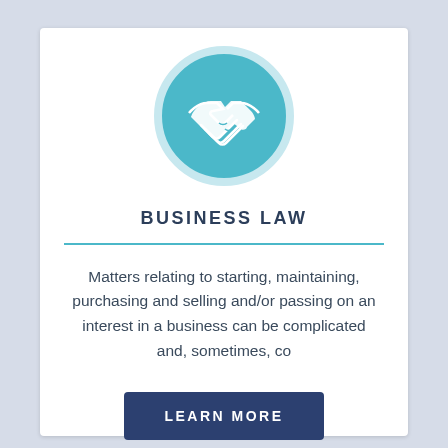[Figure (illustration): A teal circle with a white handshake icon in the center, representing business law.]
BUSINESS LAW
Matters relating to starting, maintaining, purchasing and selling and/or passing on an interest in a business can be complicated and, sometimes, co
LEARN MORE